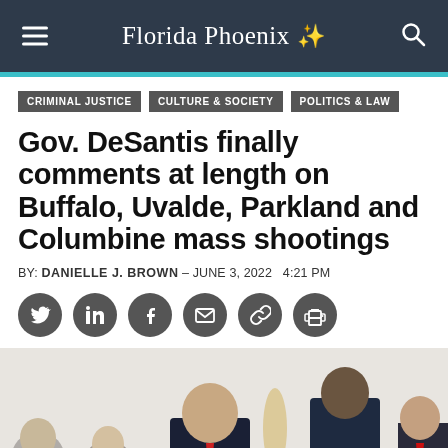Florida Phoenix
CRIMINAL JUSTICE
CULTURE & SOCIETY
POLITICS & LAW
Gov. DeSantis finally comments at length on Buffalo, Uvalde, Parkland and Columbine mass shootings
BY: DANIELLE J. BROWN – JUNE 3, 2022   4:21 PM
[Figure (photo): Governor Ron DeSantis standing at a podium with other officials behind him in a formal setting]